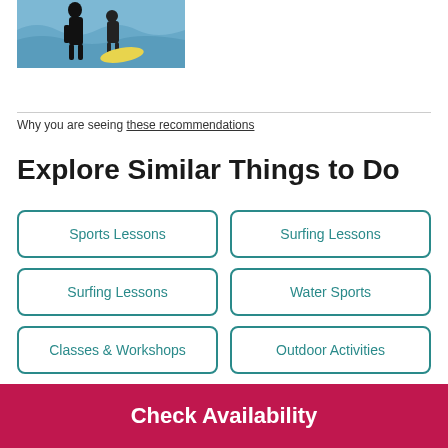[Figure (photo): Two people in wetsuits in ocean water with a surfboard]
Why you are seeing these recommendations
Explore Similar Things to Do
Sports Lessons
Surfing Lessons
Surfing Lessons
Water Sports
Classes & Workshops
Outdoor Activities
Check Availability